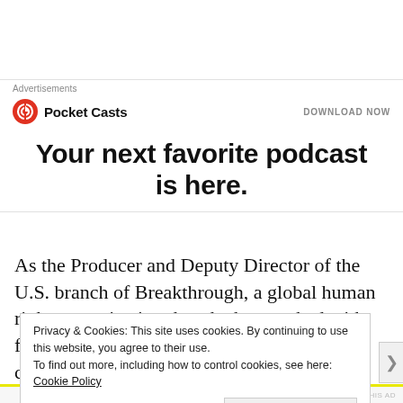Advertisements
[Figure (logo): Pocket Casts logo with red circular icon and bold text 'Pocket Casts', with 'DOWNLOAD NOW' call to action on the right]
Your next favorite podcast is here.
As the Producer and Deputy Director of the U.S. branch of Breakthrough, a global human rights organization that she has worked with for the last six years, Srivastava has continually
Privacy & Cookies: This site uses cookies. By continuing to use this website, you agree to their use.
To find out more, including how to control cookies, see here: Cookie Policy
Close and accept